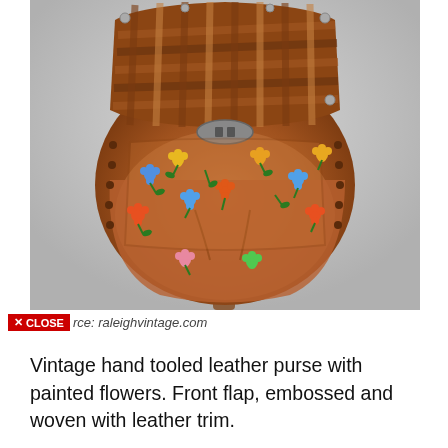[Figure (photo): A vintage hand tooled leather purse with painted colorful flowers (orange, blue, yellow, pink), displayed on a stand against a light grey background. The bag features a woven leather flap on top, embossed floral designs, metal hardware clasp, and leather lacing trim.]
× CLOSE rce: raleighvintage.com
Vintage hand tooled leather purse with painted flowers. Front flap, embossed and woven with leather trim.